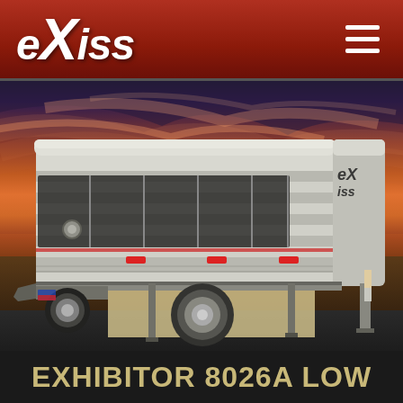[Figure (logo): eXiss trailer brand logo in white italic text on dark red header bar]
[Figure (photo): Silver aluminum livestock/exhibitor trailer (Exiss brand) with open side panels, spare tire visible underneath, parked on dark pavement against dramatic orange and red sunset sky with clouds and flat farmland in background]
EXHIBITOR 8026A LOW